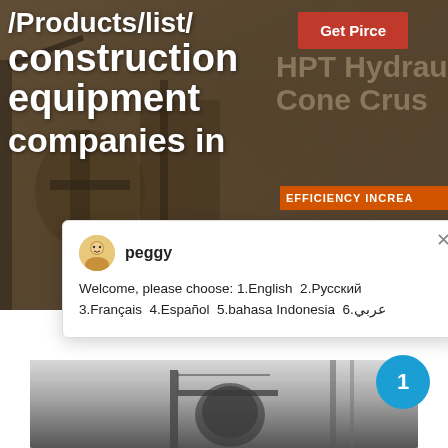[Figure (screenshot): Website screenshot showing a construction equipment company page with hero banner text '/Products/list/ construction equipment companies in' on dark industrial background with 'Get Pirce' button, HPT Hydraulic Cone Crusher text, and EFFICIENCY INCREASE orange bar]
Get Pirce
/Products/list/ construction equipment companies in
HPT Hydraulic Cone Crus
EFFICIENCY INCREA
peggy
Welcome, please choose: 1.English  2.Русский  3.Français  4.Español  5.bahasa Indonesia  6.عربي
[Figure (photo): Industrial machinery photo at bottom of page, showing metal construction equipment in a warehouse/factory setting]